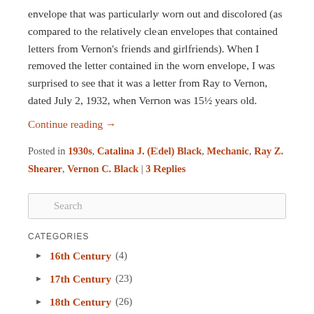envelope that was particularly worn out and discolored (as compared to the relatively clean envelopes that contained letters from Vernon's friends and girlfriends). When I removed the letter contained in the worn envelope, I was surprised to see that it was a letter from Ray to Vernon, dated July 2, 1932, when Vernon was 15½ years old.
Continue reading →
Posted in 1930s, Catalina J. (Edel) Black, Mechanic, Ray Z. Shearer, Vernon C. Black | 3 Replies
Search
CATEGORIES
16th Century (4)
17th Century (23)
18th Century (26)
19th Century (186)